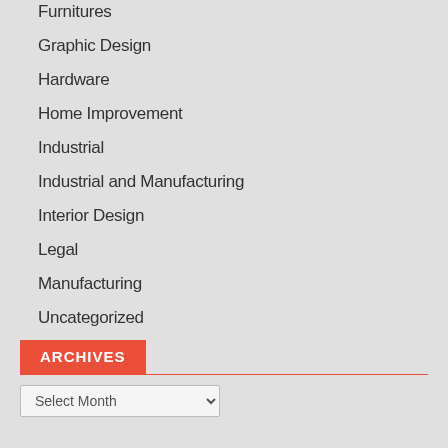Furnitures
Graphic Design
Hardware
Home Improvement
Industrial
Industrial and Manufacturing
Interior Design
Legal
Manufacturing
Uncategorized
Web Design
ARCHIVES
Select Month